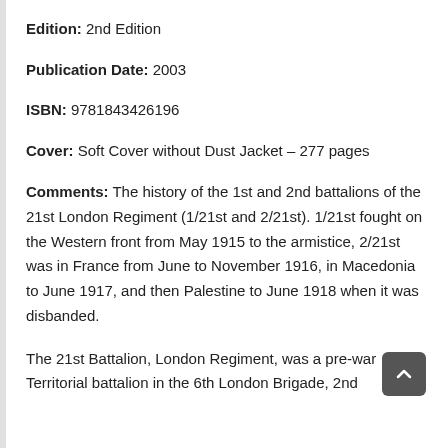Edition: 2nd Edition
Publication Date: 2003
ISBN: 9781843426196
Cover: Soft Cover without Dust Jacket – 277 pages
Comments: The history of the 1st and 2nd battalions of the 21st London Regiment (1/21st and 2/21st). 1/21st fought on the Western front from May 1915 to the armistice, 2/21st was in France from June to November 1916, in Macedonia to June 1917, and then Palestine to June 1918 when it was disbanded.
The 21st Battalion, London Regiment, was a pre-war Territorial battalion in the 6th London Brigade, 2nd